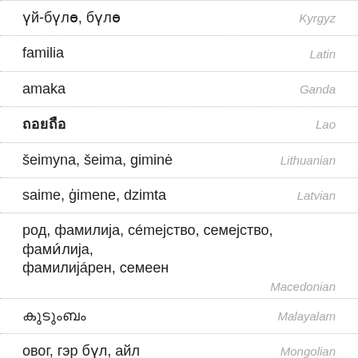үй-бүлө, бүлө — Kyrgyz
familia — Latin
amaka — Ganda
ถอยถือ — Lao
šeimyna, šeima, giminė — Lithuanian
saime, ģimene, dzimta — Latvian
род, фамилија, сémejство, семejство, фамѝлија, фамилијáрен, семеен — Macedonian
കുടുംബം — Malayalam
овог, гэр бүл, айл — Mongolian